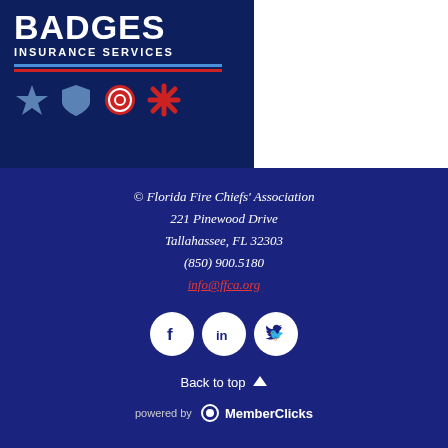[Figure (logo): United Badges Insurance Services logo on dark navy background with blue and red horizontal lines and service symbols (star, shield, fire badge, medical cross)]
© Florida Fire Chiefs' Association
221 Pinewood Drive
Tallahassee, FL 32303
(850) 900.5180
info@ffca.org
[Figure (illustration): Social media icons: Facebook, LinkedIn, Twitter in white circles on dark blue background]
Back to top
powered by MemberClicks